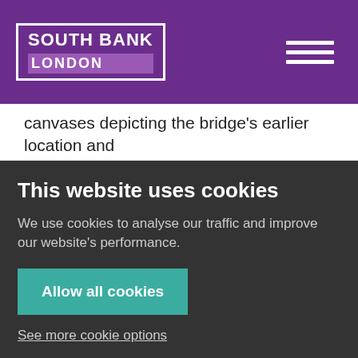SOUTH BANK LONDON
canvases depicting the bridge's earlier location and nearby vistas. In the spirit of the Impressionists and the English Romantics who captured the Thames and its bridges in their paintings, Leo Villareal's artwork for Waterloo Bridge incorporates colours that shift and blend, adjusting to the constantly changing riverscape and its surroundings.
This website uses cookies
We use cookies to analyse our traffic and improve our website's performance.
Allow all cookies
See more cookie options